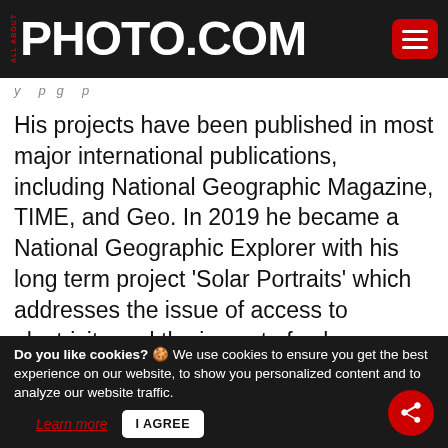ALL ABOUT PHOTO.COM
His projects have been published in most major international publications, including National Geographic Magazine, TIME, and Geo. In 2019 he became a National Geographic Explorer with his long term project 'Solar Portraits' which addresses the issue of access to electricity and the impact of solar technology around the world. He has won various international awards including the Sony World Photography Award two years in a row and the POY
Do you like cookies? 🍪 We use cookies to ensure you get the best experience on our website, to show you personalized content and to analyze our website traffic. Learn more  I AGREE